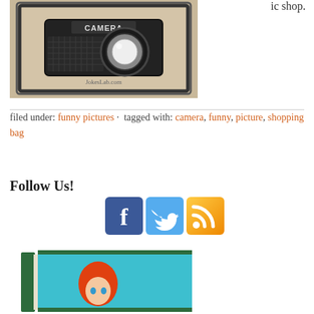[Figure (photo): Photo of a shopping bag designed to look like a camera, with 'CAMERA' text and JokesLab.com branding]
ic shop.
filed under: funny pictures · tagged with: camera, funny, picture, shopping bag
Follow Us!
[Figure (infographic): Social media icons: Facebook, Twitter, RSS feed]
[Figure (photo): Book with teal cover featuring an illustrated red-haired girl character]